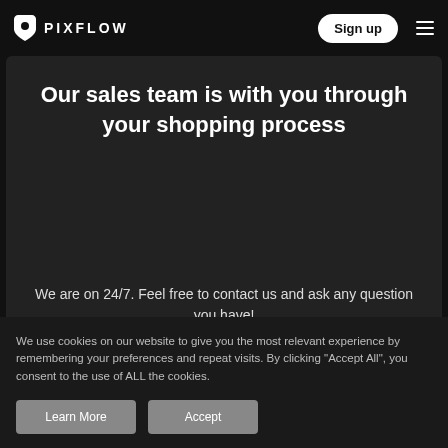PIXFLOW — Sign up
Our sales team is with you through your shopping process
We are on 24/7. Feel free to contact us and ask any question you have!
We use cookies on our website to give you the most relevant experience by remembering your preferences and repeat visits. By clicking “Accept All”, you consent to the use of ALL the cookies.
Learn More   Accept